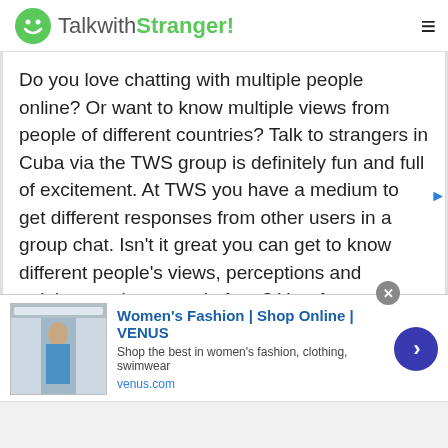TalkwithStranger!
Do you love chatting with multiple people online? Or want to know multiple views from people of different countries? Talk to strangers in Cuba via the TWS group is definitely fun and full of excitement. At TWS you have a medium to get different responses from other users in a group chat. Isn't it great you can get to know different people's views, perceptions and opinions on just one platform? Yes, for sure, yes. You don't need to search different chat sites rather all your queries will be resolved via online group chat.
[Figure (screenshot): Advertisement banner for Women's Fashion Shop Online VENUS showing a fashion model image, ad title, description text, venus.com URL, and a blue circular arrow button]